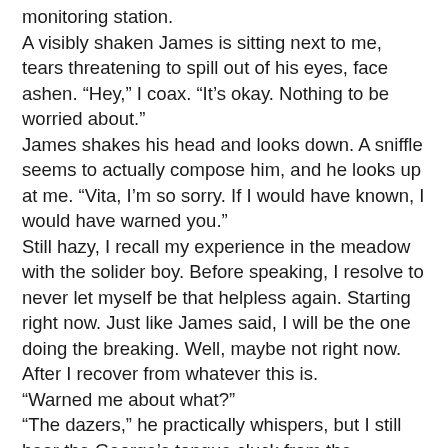monitoring station. A visibly shaken James is sitting next to me, tears threatening to spill out of his eyes, face ashen. “Hey,” I coax. “It’s okay. Nothing to be worried about.” James shakes his head and looks down. A sniffle seems to actually compose him, and he looks up at me. “Vita, I’m so sorry. If I would have known, I would have warned you.” Still hazy, I recall my experience in the meadow with the solider boy. Before speaking, I resolve to never let myself be that helpless again. Starting right now. Just like James said, I will be the one doing the breaking. Well, maybe not right now. After I recover from whatever this is. “Warned me about what?” “The dazers,” he practically whispers, but I still hear the George’s tongue cluck from the computer station. His disapproval is thick. “You passed out on the steps. I couldn’t wake you up. When I brought you here, I thought you were dead.” “Yes, the drugs caused your heart to race,” the